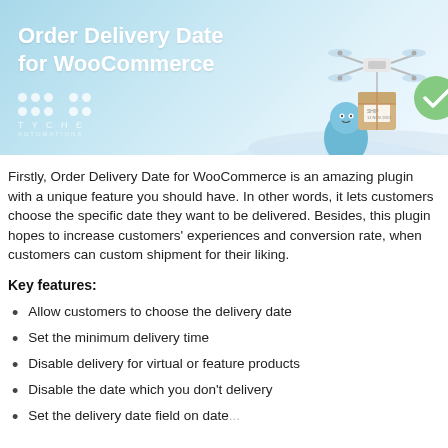[Figure (illustration): Banner image for Order Delivery Date for WooCommerce plugin. Light blue gradient background with a drone delivering a package and a blue character, plus a green checkmark badge. Tyche Automations logo with dot grid at bottom left.]
Order Delivery Date for WooCommerce
Firstly, Order Delivery Date for WooCommerce is an amazing plugin with a unique feature you should have. In other words, it lets customers choose the specific date they want to be delivered. Besides, this plugin hopes to increase customers' experiences and conversion rate, when customers can custom shipment for their liking.
Key features:
Allow customers to choose the delivery date
Set the minimum delivery time
Disable delivery for virtual or feature products
Disable the date which you don't delivery
Set the delivery date field on date...